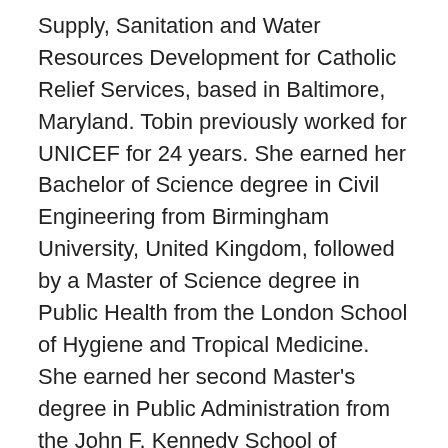Supply, Sanitation and Water Resources Development for Catholic Relief Services, based in Baltimore, Maryland. Tobin previously worked for UNICEF for 24 years. She earned her Bachelor of Science degree in Civil Engineering from Birmingham University, United Kingdom, followed by a Master of Science degree in Public Health from the London School of Hygiene and Tropical Medicine.  She earned her second Master's degree in Public Administration from the John F. Kennedy School of Government, Harvard University.  Tobin has worked in various management and technical capacities, serving in the Philippines, Egypt, Nepal, Pakistan, the United Kingdom, South Sudan, and Lesotho.
Steve Werner works with international nonprofit organizations that primarily focus on WASH programs (safe drinking water, sanitation and hygiene education) in developing countries. Werner and his clients work mainly in Africa, Asia, and Latin America in remote, under-served